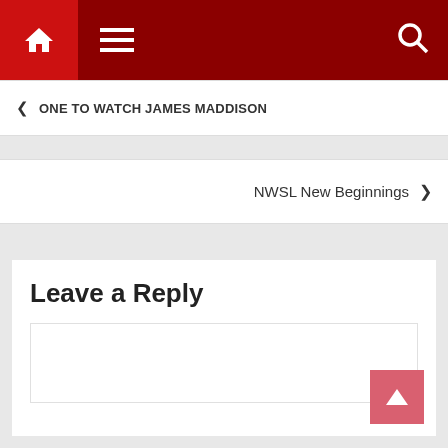Navigation bar with home, menu, and search icons
< ONE TO WATCH JAMES MADDISON
NWSL New Beginnings >
Leave a Reply